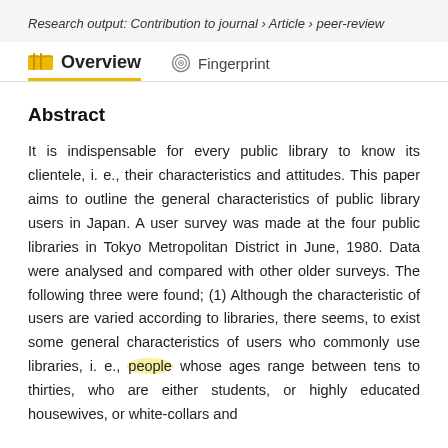Research output: Contribution to journal › Article › peer-review
Overview
Fingerprint
Abstract
It is indispensable for every public library to know its clientele, i. e., their characteristics and attitudes. This paper aims to outline the general characteristics of public library users in Japan. A user survey was made at the four public libraries in Tokyo Metropolitan District in June, 1980. Data were analysed and compared with other older surveys. The following three were found; (1) Although the characteristic of users are varied according to libraries, there seems, to exist some general characteristics of users who commonly use libraries, i. e., people whose ages range between tens to thirties, who are either students, or highly educated housewives, or white-collars and